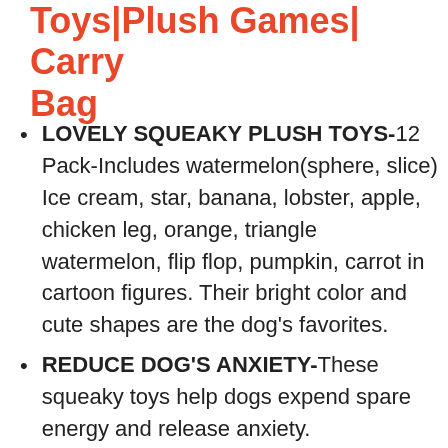Toys|Plush Games| Carry Bag
LOVELY SQUEAKY PLUSH TOYS-12 Pack-Includes watermelon(sphere, slice) Ice cream, star, banana, lobster, apple, chicken leg, orange, triangle watermelon, flip flop, pumpkin, carrot in cartoon figures. Their bright color and cute shapes are the dog's favorites.
REDUCE DOG'S ANXIETY-These squeaky toys help dogs expend spare energy and release anxiety.